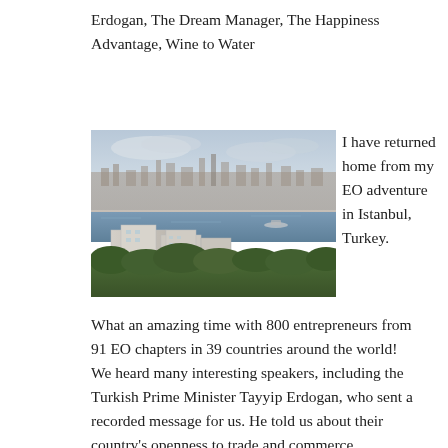Erdogan, The Dream Manager, The Happiness Advantage, Wine to Water
[Figure (photo): Aerial/elevated view of Istanbul, Turkey, showing city skyline with modern buildings in foreground near the Bosphorus strait, dense urban settlement across the water, and sky with clouds above.]
I have returned home from my EO adventure in Istanbul, Turkey.
What an amazing time with 800 entrepreneurs from 91 EO chapters in 39 countries around the world! We heard many interesting speakers, including the Turkish Prime Minister Tayyip Erdogan, who sent a recorded message for us. He told us about their country's openness to trade and commerce.